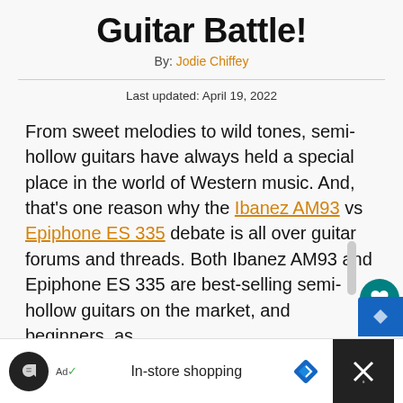Guitar Battle!
By: Jodie Chiffey
Last updated: April 19, 2022
From sweet melodies to wild tones, semi-hollow guitars have always held a special place in the world of Western music. And, that’s one reason why the Ibanez AM93 vs Epiphone ES 335 debate is all over guitar forums and threads. Both Ibanez AM93 and Epiphone ES 335 are best-selling semi hollow guitars on the market, and beginners, as well as professional guitarists often find it difficu... pick the best option.